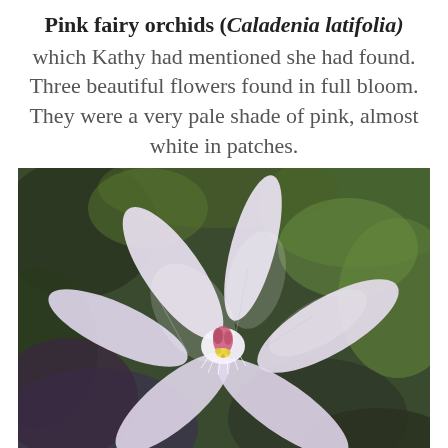Pink fairy orchids (Caladenia latifolia) which Kathy had mentioned she had found. Three beautiful flowers found in full bloom. They were a very pale shade of pink, almost white in patches.
[Figure (photo): Close-up photograph of a pink fairy orchid (Caladenia latifolia) in full bloom. The flower has very pale pink, almost white petals arranged in a star shape with a pink and yellow centre. The background is blurred green and dark bokeh.]